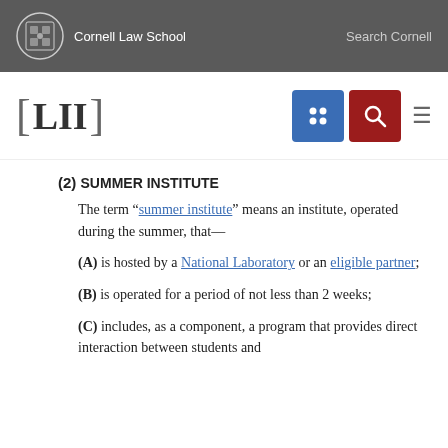Cornell Law School | Search Cornell
[Figure (logo): LII Legal Information Institute logo with Cornell Law School branding, navigation icons including a grid icon (blue), search icon (red), and hamburger menu]
(2) Summer Institute
The term “summer institute” means an institute, operated during the summer, that—
(A) is hosted by a National Laboratory or an eligible partner;
(B) is operated for a period of not less than 2 weeks;
(C) includes, as a component, a program that provides direct interaction between students and